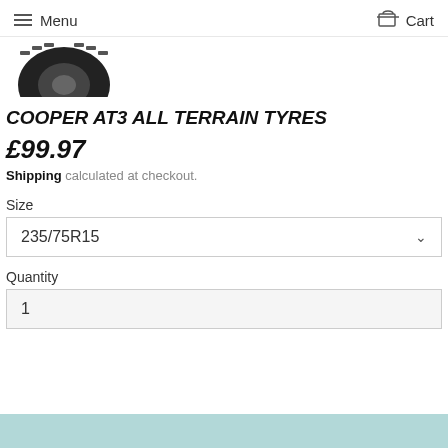Menu  Cart
[Figure (photo): Partial view of a Cooper AT3 all terrain tyre, showing tread pattern, cropped at top]
COOPER AT3 ALL TERRAIN TYRES
£99.97
Shipping calculated at checkout.
Size
235/75R15
Quantity
1